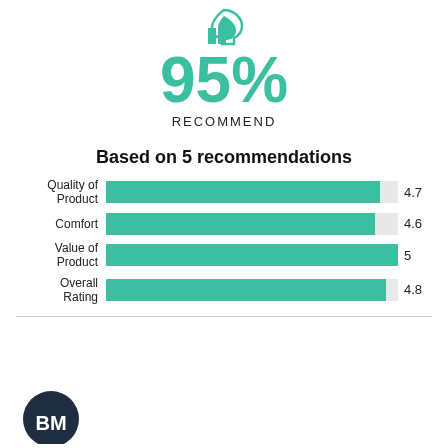[Figure (infographic): Thumbs up icon in teal/green color at top center]
95%
RECOMMEND
Based on 5 recommendations
[Figure (bar-chart): Ratings by category]
[Figure (logo): Dark navy circular logo with letters BM at bottom left]